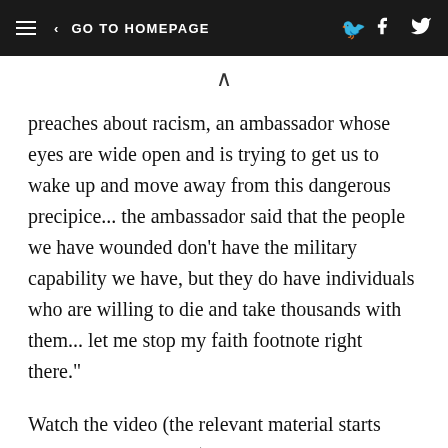≡  < GO TO HOMEPAGE
preaches about racism, an ambassador whose eyes are wide open and is trying to get us to wake up and move away from this dangerous precipice... the ambassador said that the people we have wounded don't have the military capability we have, but they do have individuals who are willing to die and take thousands with them... let me stop my faith footnote right there."
Watch the video (the relevant material starts around the 3:00 mark):